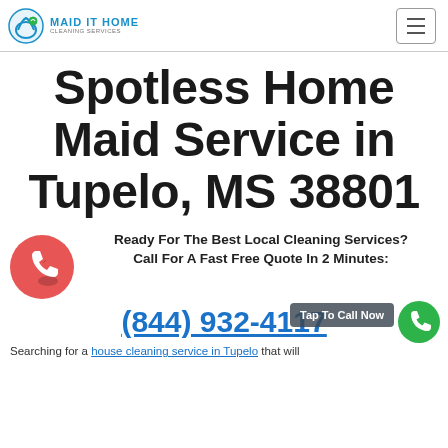MAID IT HOME CLEANING SERVICES
Spotless Home Maid Service in Tupelo, MS 38801
Ready For The Best Local Cleaning Services?
Call For A Fast Free Quote In 2 Minutes:
(844) 932-4117
Tap To Call Now
Searching for a house cleaning service in Tupelo that will